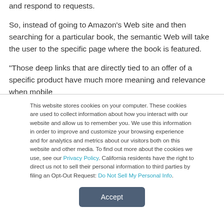and respond to requests.
So, instead of going to Amazon's Web site and then searching for a particular book, the semantic Web will take the user to the specific page where the book is featured.
“Those deep links that are directly tied to an offer of a specific product have much more meaning and relevance when mobile
This website stores cookies on your computer. These cookies are used to collect information about how you interact with our website and allow us to remember you. We use this information in order to improve and customize your browsing experience and for analytics and metrics about our visitors both on this website and other media. To find out more about the cookies we use, see our Privacy Policy. California residents have the right to direct us not to sell their personal information to third parties by filing an Opt-Out Request: Do Not Sell My Personal Info.